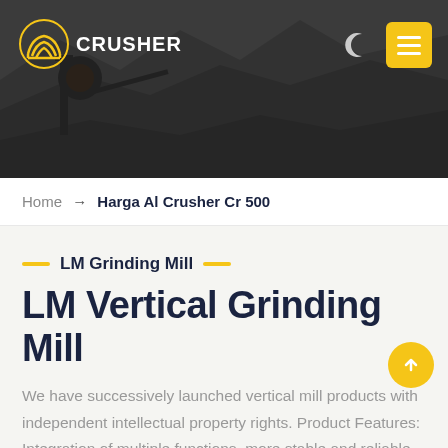[Figure (photo): Mining/quarry site hero image with heavy machinery and rocky terrain. Dark overlay. Logo 'JLO CRUSHER' on top-left with yellow icon. Moon icon and yellow hamburger menu button on top-right.]
Home → Harga Al Crusher Cr 500
LM Grinding Mill
LM Vertical Grinding Mill
We have successively launched vertical mill products with independent intellectual property rights. Product Features: Integration of multiple functions, more stable and reliable production and more excellent capacity